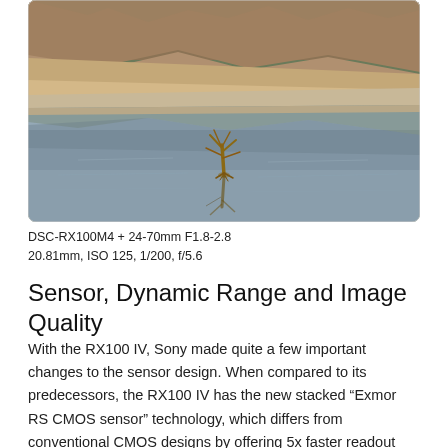[Figure (photo): Landscape photo of a reflective lake or salt flat with mountains in the background and a small dried tree or plant in the foreground, reflected in still water. Warm desert tones with blue sky reflections.]
DSC-RX100M4 + 24-70mm F1.8-2.8
20.81mm, ISO 125, 1/200, f/5.6
Sensor, Dynamic Range and Image Quality
With the RX100 IV, Sony made quite a few important changes to the sensor design. When compared to its predecessors, the RX100 IV has the new stacked “Exmor RS CMOS sensor” technology, which differs from conventional CMOS designs by offering 5x faster readout